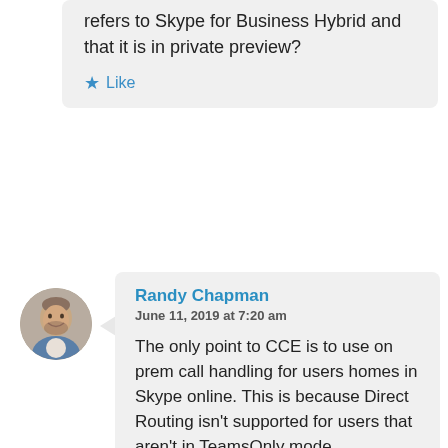refers to Skype for Business Hybrid and that it is in private preview?
Like
[Figure (photo): Circular avatar photo of Randy Chapman, a man in a suit smiling]
Randy Chapman
June 11, 2019 at 7:20 am
The only point to CCE is to use on prem call handling for users homes in Skype online. This is because Direct Routing isn't supported for users that aren't in TeamsOnly mode.
I think if it is possible to assign